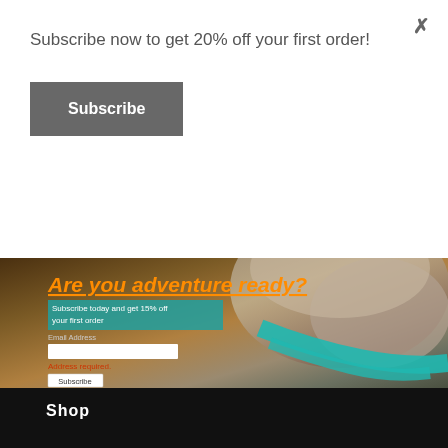Subscribe now to get 20% off your first order!
Subscribe
[Figure (screenshot): Adventure pet gear website banner showing a dog wearing a teal harness/collar with text 'Are you adventure ready?' in orange, a teal-highlighted subtitle 'Subscribe today and get 15% off your first order', an email address input field, an error message 'Address required.', and a Subscribe button.]
Shop
All Products
Dogs
Men
Women